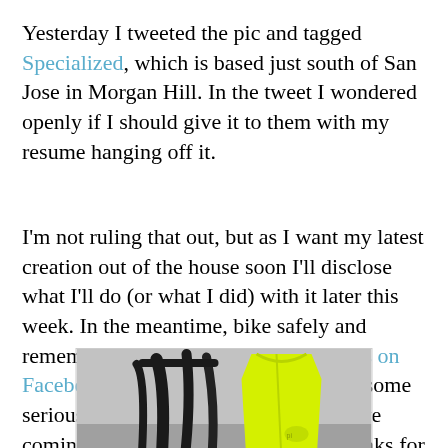Yesterday I tweeted the pic and tagged Specialized, which is based just south of San Jose in Morgan Hill. In the tweet I wondered openly if I should give it to them with my resume hanging off it.
I'm not ruling that out, but as I want my latest creation out of the house soon I'll disclose what I'll do (or what I did) with it later this week. In the meantime, bike safely and remember to follow Good Karma Bikes on Facebook since they are going to need some serious volunteer help for their big move coming up. Thanks for reading and thanks for riding.
[Figure (photo): A photo showing a coat rack or hooks with what appears to be a yellow/neon cycling jersey and black bike components or handlebars hanging on it, against a grey wall.]